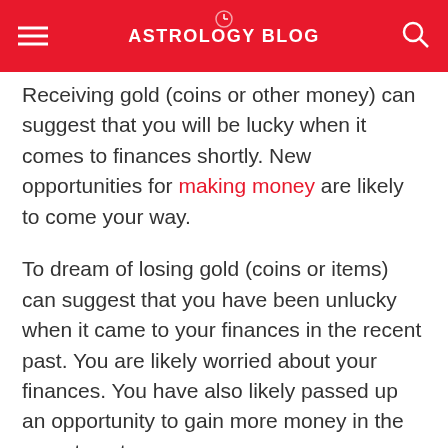ASTROLOGY BLOG
Receiving gold (coins or other money) can suggest that you will be lucky when it comes to finances shortly. New opportunities for making money are likely to come your way.
To dream of losing gold (coins or items) can suggest that you have been unlucky when it came to your finances in the recent past. You are likely worried about your finances. You have also likely passed up an opportunity to gain more money in the recent past.
Dreaming of gold bars of gold jewelry can suggest that you want the finer things in life and that you may